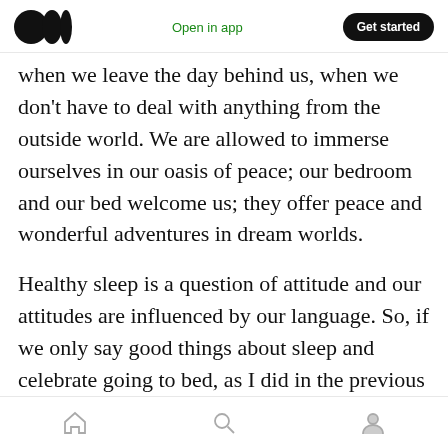Medium logo | Open in app | Get started
when we leave the day behind us, when we don't have to deal with anything from the outside world. We are allowed to immerse ourselves in our oasis of peace; our bedroom and our bed welcome us; they offer peace and wonderful adventures in dream worlds.
Healthy sleep is a question of attitude and our attitudes are influenced by our language. So, if we only say good things about sleep and celebrate going to bed, as I did in the previous paragraph, we have already come closer to healthy sleep. Paying attention to language
Home | Search | Profile